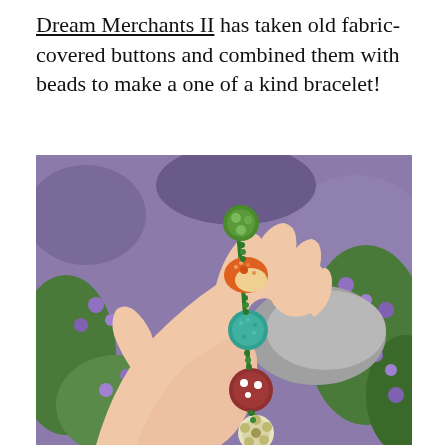Dream Merchants II has taken old fabric-covered buttons and combined them with beads to make a one of a kind bracelet!
[Figure (photo): A hand holding a bracelet made of colorful fabric-covered buttons and green beads, photographed outdoors against purple flowers and rocks. The bracelet features buttons in green, orange, teal, dark red/maroon with white dots, and a cream/gold floral button, connected by green seed beads.]